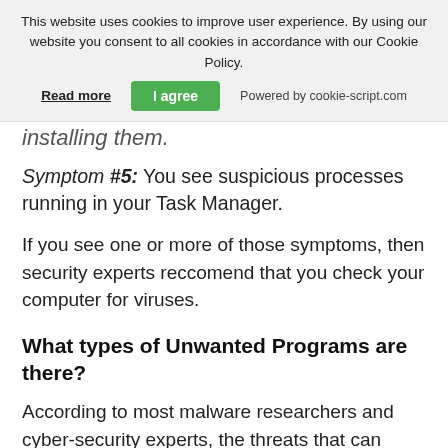This website uses cookies to improve user experience. By using our website you consent to all cookies in accordance with our Cookie Policy. Read more | I agree | Powered by cookie-script.com
installing them.
Symptom #5: You see suspicious processes running in your Task Manager.
If you see one or more of those symptoms, then security experts reccomend that you check your computer for viruses.
What types of Unwanted Programs are there?
According to most malware researchers and cyber-security experts, the threats that can currently affect your Mac can be the following types:
Rogue Antivirus programs.